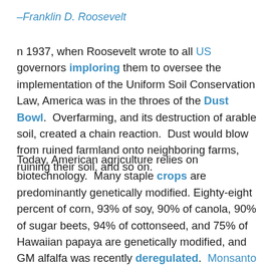–Franklin D. Roosevelt
n 1937, when Roosevelt wrote to all US governors imploring them to oversee the implementation of the Uniform Soil Conservation Law, America was in the throes of the Dust Bowl.  Overfarming, and its destruction of arable soil, created a chain reaction.  Dust would blow from ruined farmland onto neighboring farms, ruining their soil, and so on.
Today, American agriculture relies on biotechnology.  Many staple crops are predominantly genetically modified.  Eighty-eight percent of corn, 93% of soy, 90% of canola, 90% of sugar beets, 94% of cottonseed, and 75% of Hawaiian papaya are genetically modified, and GM alfalfa was recently deregulated.  Monsanto owns 90% of the world's GM crops and...